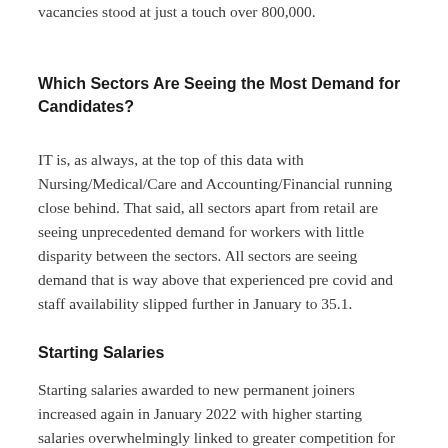Interestingly, in 2019, prior to the pandemic, the number of vacancies stood at just a touch over 800,000.
Which Sectors Are Seeing the Most Demand for Candidates?
IT is, as always, at the top of this data with Nursing/Medical/Care and Accounting/Financial running close behind. That said, all sectors apart from retail are seeing unprecedented demand for workers with little disparity between the sectors. All sectors are seeing demand that is way above that experienced pre covid and staff availability slipped further in January to 35.1.
Starting Salaries
Starting salaries awarded to new permanent joiners increased again in January 2022 with higher starting salaries overwhelmingly linked to greater competition for scarce